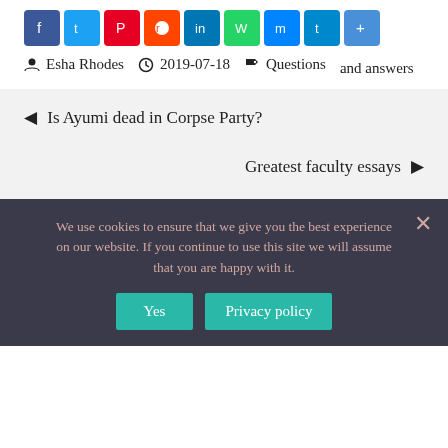[Figure (infographic): Row of social media sharing icons: Facebook (blue), Twitter (light blue), Pinterest (red), Reddit (orange-red), LinkedIn (blue), WhatsApp (green), Messenger (blue), Telegram (blue), Share (blue)]
Esha Rhodes   2019-07-18   Questions and answers
◄ Is Ayumi dead in Corpse Party?
Greatest faculty essays ►
We use cookies to ensure that we give you the best experience on our website. If you continue to use this site we will assume that you are happy with it.
Yes   Privacy policy